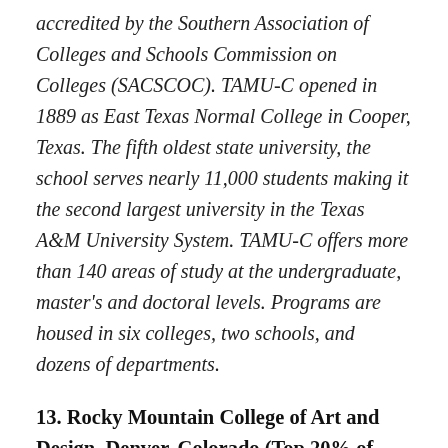accredited by the Southern Association of Colleges and Schools Commission on Colleges (SACSCOC). TAMU-C opened in 1889 as East Texas Normal College in Cooper, Texas. The fifth oldest state university, the school serves nearly 11,000 students making it the second largest university in the Texas A&M University System. TAMU-C offers more than 140 areas of study at the undergraduate, master's and doctoral levels. Programs are housed in six colleges, two schools, and dozens of departments.
13. Rocky Mountain College of Art and Design, Denver, Colorado (Top 20% of colleges considered)